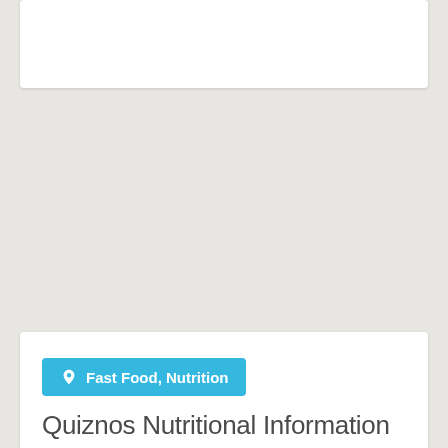[Figure (other): White card / placeholder at top of page]
Fast Food, Nutrition
Quiznos Nutritional Information